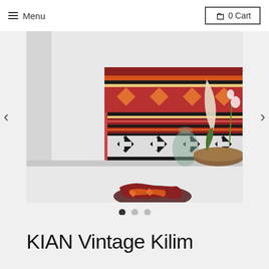Menu  0 Cart
[Figure (photo): A colorful vintage kilim rug displayed on a white shelf, alongside a glass vase, a leaf-shaped wooden decoration, and a wooden bowl with orchids. A second partially visible kilim is in the foreground.]
< >
KIAN Vintage Kilim